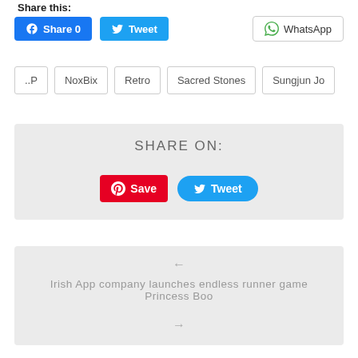Share this:
[Figure (screenshot): Social share buttons: Facebook Share 0, Tweet, WhatsApp]
..P
NoxBix
Retro
Sacred Stones
Sungjun Jo
SHARE ON:
[Figure (screenshot): Share on section with Pinterest Save and Tweet buttons]
← Irish App company launches endless runner game Princess Boo →